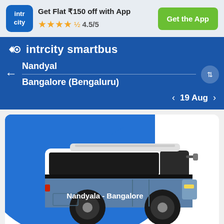[Figure (screenshot): IntrCity SmartBus app banner with logo, offer text, star rating, and Get the App button]
Get Flat ₹150 off with App
★★★★½ 4.5/5
Get the App
intrcity smartbus
Nandyal
Bangalore (Bengaluru)
19 Aug
[Figure (illustration): Blue and white intercity bus illustration with text 'Nandyala - Bangalore' on the side, set against a blue and white background]
Trip Overview